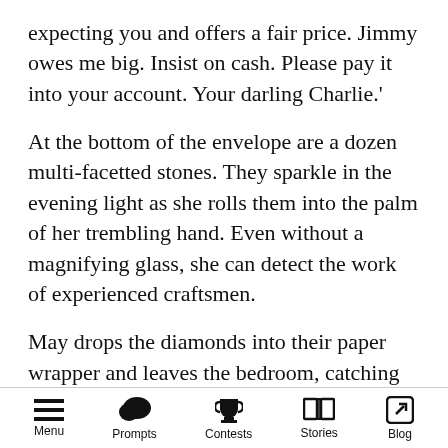expecting you and offers a fair price. Jimmy owes me big. Insist on cash. Please pay it into your account. Your darling Charlie.'
At the bottom of the envelope are a dozen multi-facetted stones. They sparkle in the evening light as she rolls them into the palm of her trembling hand. Even without a magnifying glass, she can detect the work of experienced craftsmen.
May drops the diamonds into their paper wrapper and leaves the bedroom, catching herself in the dressing table's mirror as she places the package in her apron's front pocket. Shaking her head, she gathers up all Charlie's valuables and returns to her quarters. It's late in
Menu  Prompts  Contests  Stories  Blog